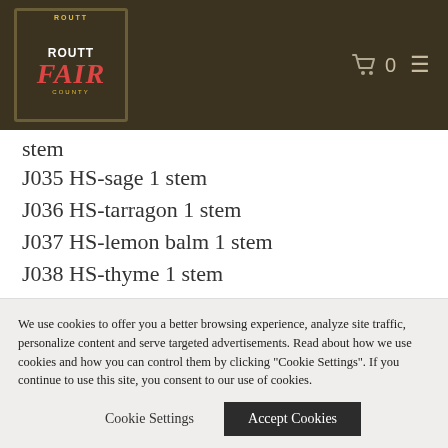[Figure (logo): Routt County Fair logo on dark olive/brown background header with cart icon showing 0 and hamburger menu]
stem
J035 HS-sage 1 stem
J036 HS-tarragon 1 stem
J037 HS-lemon balm 1 stem
J038 HS-thyme 1 stem
J039 HS-other 1 stem
J040 HS-open 1 stem
Category 2 - Leafy Crops (enclosed for better displaying)
J041 LC-broccoli, 1 large bunch
J042 LC-Brussel sprouts, 6 heads
We use cookies to offer you a better browsing experience, analyze site traffic, personalize content and serve targeted advertisements. Read about how we use cookies and how you can control them by clicking "Cookie Settings". If you continue to use this site, you consent to our use of cookies.